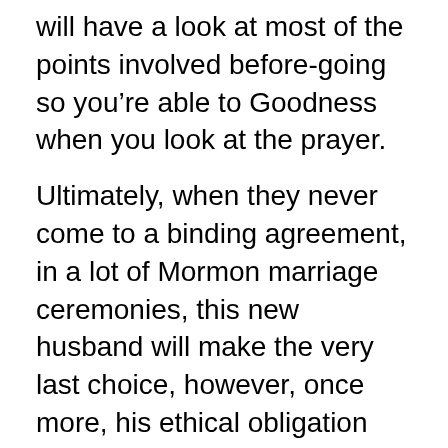will have a look at most of the points involved before-going so you're able to Goodness when you look at the prayer.
Ultimately, when they never come to a binding agreement, in a lot of Mormon marriage ceremonies, this new husband will make the very last choice, however, once more, his ethical obligation should be to ensure it is sensibly, and not soleley on which the guy himself likes. My hubby commonly decided in my like simply because they I was far more capable to make the decision or it mattered far more so you can me than to your-or whilst influenced me more they performed your. We picked homeschooling when he wasn't yes it had been an excellent tip since the I became the